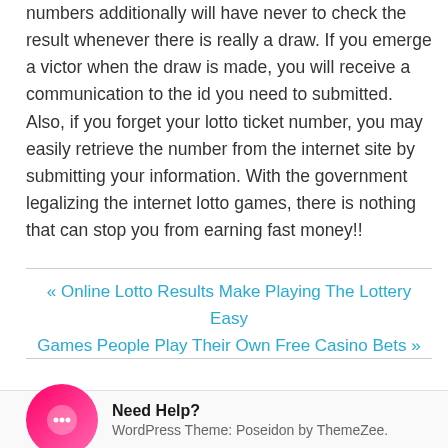numbers additionally will have never to check the result whenever there is really a draw. If you emerge a victor when the draw is made, you will receive a communication to the id you need to submitted. Also, if you forget your lotto ticket number, you may easily retrieve the number from the internet site by submitting your information. With the government legalizing the internet lotto games, there is nothing that can stop you from earning fast money!!
« Online Lotto Results Make Playing The Lottery Easy
Games People Play Their Own Free Casino Bets »
Need Help?
WordPress Theme: Poseidon by ThemeZee.